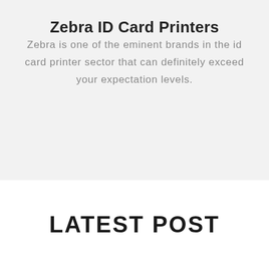Zebra ID Card Printers
Zebra is one of the eminent brands in the id card printer sector that can definitely exceed your expectation levels.
LATEST POST